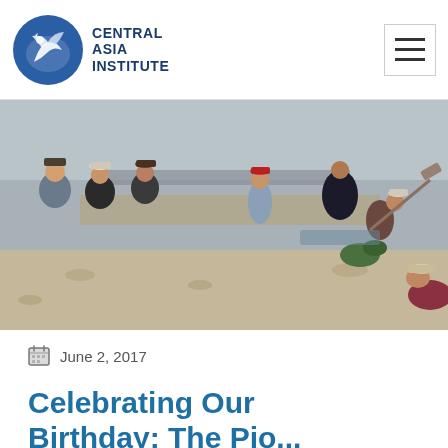Central Asia Institute
[Figure (photo): Group of men outdoors working on a construction or irrigation project in a rocky, arid landscape. Some are standing and observing, others are digging or shoveling. Mountains visible in background.]
June 2, 2017
Celebrating Our Birthday: The Pio...